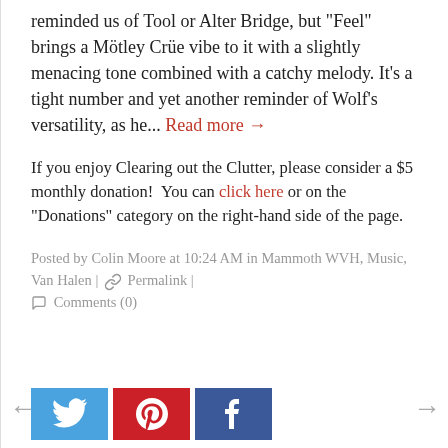reminded us of Tool or Alter Bridge, but "Feel" brings a Mötley Crüe vibe to it with a slightly menacing tone combined with a catchy melody. It's a tight number and yet another reminder of Wolf's versatility, as he... Read more →
If you enjoy Clearing out the Clutter, please consider a $5 monthly donation!  You can click here or on the "Donations" category on the right-hand side of the page.
Posted by Colin Moore at 10:24 AM in Mammoth WVH, Music, Van Halen | Permalink | Comments (0)
[Figure (other): Social sharing buttons: Twitter (blue), Pinterest (red), Facebook (dark blue)]